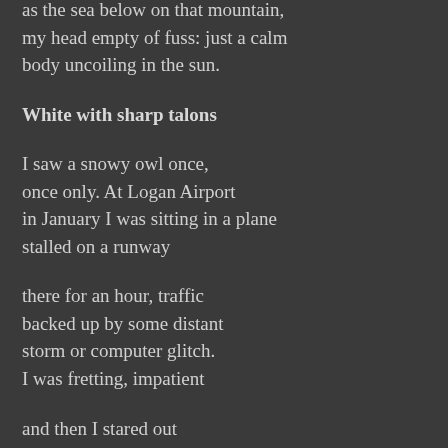as the sea below on that mountain,
my head empty of fuss: just a calm
body uncoiling in the sun.
White with sharp talons
I saw a snowy owl once,
once only. At Logan Airport
in January I was sitting in a plane
stalled on a runway
there for an hour, traffic
backed up by some distant
storm or computer glitch.
I was fretting, impatient
and then I stared out
the dirty window and saw
him sitting on the dead